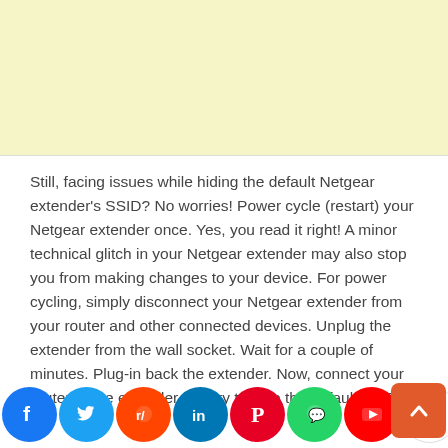[Figure (other): Yellow/cream colored advertisement banner area at top of page]
Still, facing issues while hiding the default Netgear extender's SSID? No worries! Power cycle (restart) your Netgear extender once. Yes, you read it right! A minor technical glitch in your Netgear extender may also stop you from making changes to your device. For power cycling, simply disconnect your Netgear extender from your router and other connected devices. Unplug the extender from the wall socket. Wait for a couple of minutes. Plug-in back the extender. Now, connect your router to the extender and try to hide the default SSID of your Netgear extender by following the instructions listed above.
[Figure (other): Social media sharing icons bar at bottom: Facebook, Twitter, Reddit, LinkedIn, Pinterest, WhatsApp, YouTube, Gmail, Instagram, Messenger, Yahoo; also a scroll-up button]